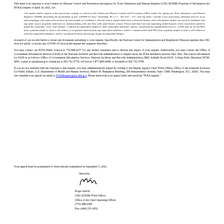This letter is in response to your Centers for Disease Control and Prevention and Agency for Toxic Substances and Disease Registry (CDC/ATSDR) Freedom of Information Act (FOIA) request of April 16, 2021, for:
[All studies and/or reports in the possession, custody or control of the Centers for Disease Control and Prevention (CDC) and/or the Agency for Toxic Substances and Disease Registry (ATSDR) describing the purification of any "COVID-19 virus" (including "B.1.1.7", "B.1.351", "P.1" and any other "variant") (via maceration, filtration and use of an ultracentrifuge; also referred to at times by some people as "isolation"), directly from a sample taken from a diseased human, where the patient sample was not first combined with any other source of genetic material (i.e. monkey kidney cells aka Vero cells; fetal bovine serum). Please note that I am not requesting studies/reports where researchers failed to purify the suspected "virus" and instead: • cultured an unpurified sample or other unpurified substance, and/or • performed an amplification test (i.e. a PCR test) on all the RNA from a patient sample or from a cell culture, or on genetic material from any unpurified substance, and/or • sequenced the total RNA from a patient sample or from a cell culture or from any unpurified substance, and/or • produced electron microscopy images of unpurified things.]
A search of our records failed to reveal any documents pertaining to your request. Specifically, the National Center for Immunization and Respiratory Diseases apprises that CDC does not purify or isolate any COVID-19 virus in the manner the requester describes.
You may contact our FOIA Public Liaison at 770-488-6277 for any further assistance and to discuss any aspect of your request. Additionally, you may contact the Office of Government Information Services (OGIS) at the National Archives and Records Administration to inquire about the FOIA mediation services they offer. The contact information for OGIS is as follows: Office of Government Information Services, National Archives and Records Administration, 8601 Adelphi Road-OGIS, College Park, Maryland 20740-6001, e-mail at ogis@nara.gov; telephone at 202-741-5770; toll free at 1-877-684-6448; or facsimile at 202-741-5769.
If you are not satisfied with the response to this request, you may administratively appeal by writing to the Deputy Agency Chief FOIA Officer, Office of the Assistant Secretary for Public Affairs, U.S. Department of Health and Human Services, Hubert H. Humphrey Building, 200 Independence Avenue, Suite 729H, Washington, D.C. 20201. You may also transmit your appeal via email to FOIARequest@psc.hhs.gov. Please mark both your appeal letter and envelope "FOIA Appeal."
Your appeal must be postmarked or electronically transmitted by September 5, 2021.
Sincerely,
[Figure (other): Handwritten signature of Roger Andoh]
Roger Andoh
CDC/ATSDR FOIA Officer
Office of the Chief Operating Officer
(770) 488-6399
Fax: (404) 235-1852